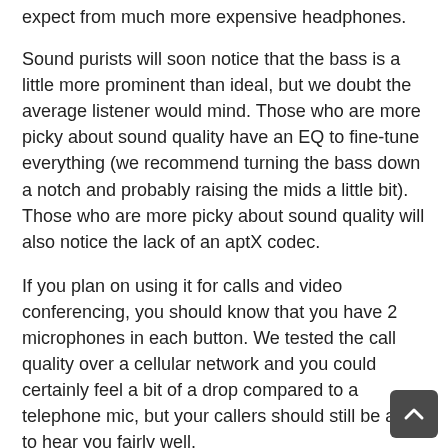expect from much more expensive headphones.
Sound purists will soon notice that the bass is a little more prominent than ideal, but we doubt the average listener would mind. Those who are more picky about sound quality have an EQ to fine-tune everything (we recommend turning the bass down a notch and probably raising the mids a little bit).
Those who are more picky about sound quality will also notice the lack of an aptX codec.
If you plan on using it for calls and video conferencing, you should know that you have 2 microphones in each button. We tested the call quality over a cellular network and you could certainly feel a bit of a drop compared to a telephone mic, but your callers should still be able to hear you fairly well.
Number one: latency
There is a little latency...